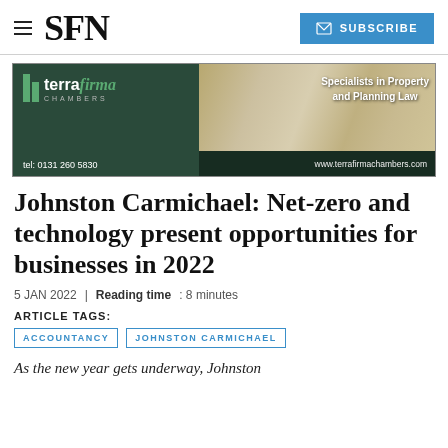SFN | SUBSCRIBE
[Figure (photo): Terra Firma Chambers advertisement banner showing their logo, 'Specialists in Property and Planning Law', tel: 0131 260 5830, www.terrafirmachambers.com]
Johnston Carmichael: Net-zero and technology present opportunities for businesses in 2022
5 JAN 2022 | Reading time: 8 minutes
ARTICLE TAGS:
ACCOUNTANCY
JOHNSTON CARMICHAEL
As the new year gets underway, Johnston